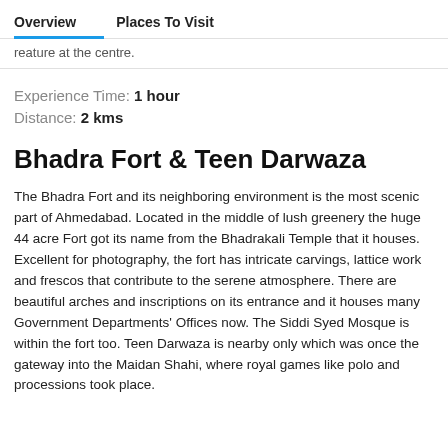Overview   Places To Visit
reature at the centre.
Experience Time: 1 hour
Distance: 2 kms
Bhadra Fort & Teen Darwaza
The Bhadra Fort and its neighboring environment is the most scenic part of Ahmedabad. Located in the middle of lush greenery the huge 44 acre Fort got its name from the Bhadrakali Temple that it houses. Excellent for photography, the fort has intricate carvings, lattice work and frescos that contribute to the serene atmosphere. There are beautiful arches and inscriptions on its entrance and it houses many Government Departments' Offices now. The Siddi Syed Mosque is within the fort too. Teen Darwaza is nearby only which was once the gateway into the Maidan Shahi, where royal games like polo and processions took place.